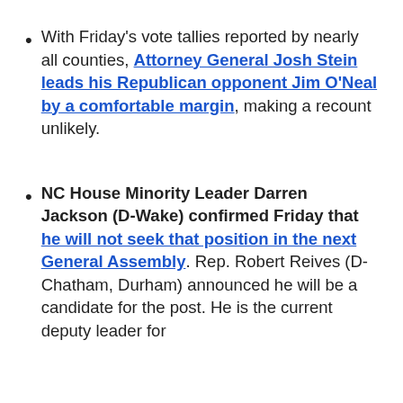With Friday's vote tallies reported by nearly all counties, Attorney General Josh Stein leads his Republican opponent Jim O'Neal by a comfortable margin, making a recount unlikely.
NC House Minority Leader Darren Jackson (D-Wake) confirmed Friday that he will not seek that position in the next General Assembly. Rep. Robert Reives (D-Chatham, Durham) announced he will be a candidate for the post. He is the current deputy leader for